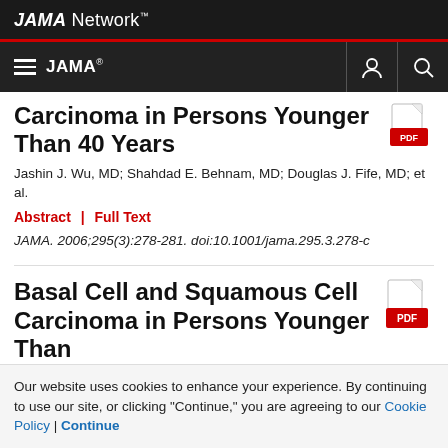JAMA Network
JAMA
Carcinoma in Persons Younger Than 40 Years
Jashin J. Wu, MD; Shahdad E. Behnam, MD; Douglas J. Fife, MD; et al.
Abstract | Full Text
JAMA. 2006;295(3):278-281. doi:10.1001/jama.295.3.278-c
Basal Cell and Squamous Cell Carcinoma in Persons Younger Than
Our website uses cookies to enhance your experience. By continuing to use our site, or clicking "Continue," you are agreeing to our Cookie Policy | Continue